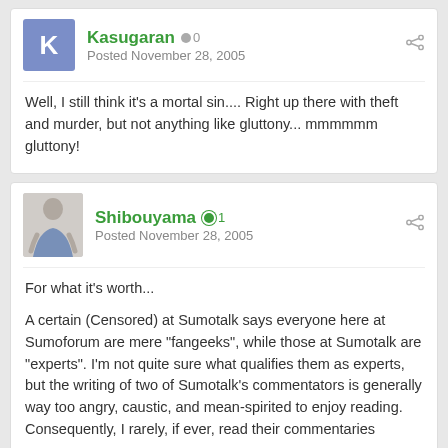Kasugaran • 0
Posted November 28, 2005
Well, I still think it's a mortal sin.... Right up there with theft and murder, but not anything like gluttony... mmmmmm gluttony!
Shibouyama • 1
Posted November 28, 2005
For what it's worth...
A certain (Censored) at Sumotalk says everyone here at Sumoforum are mere "fangeeks", while those at Sumotalk are "experts". I'm not quite sure what qualifies them as experts, but the writing of two of Sumotalk's commentators is generally way too angry, caustic, and mean-spirited to enjoy reading. Consequently, I rarely, if ever, read their commentaries anymore.
I find the commentary here, on both sides of the henka debate, to be calmer and more respectful.